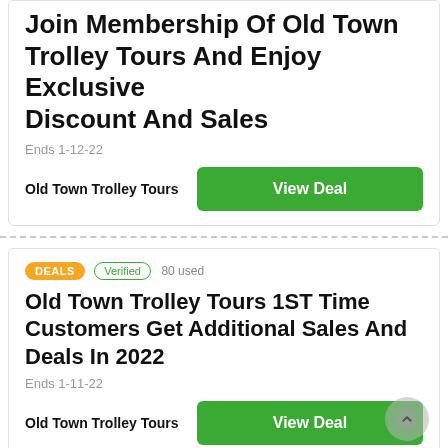Join Membership Of Old Town Trolley Tours And Enjoy Exclusive Discount And Sales
Ends 1-12-22
Old Town Trolley Tours
View Deal
DEALS  Verified  80 used
Old Town Trolley Tours 1ST Time Customers Get Additional Sales And Deals In 2022
Ends 1-11-22
Old Town Trolley Tours
View Deal
DEALS  Verified  70 used